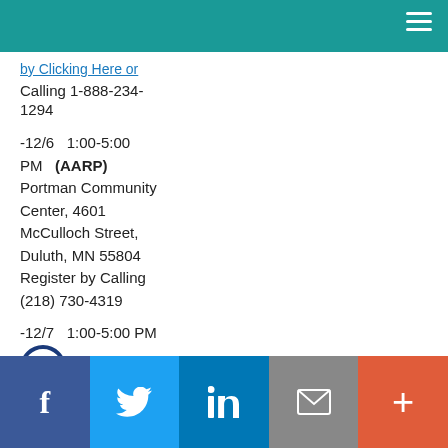by Clicking Here or Calling 1-888-234-1294
-12/6   1:00-5:00 PM   (AARP) Portman Community Center, 4601 McCulloch Street, Duluth, MN 55804 Register by Calling (218) 730-4319
-12/7   1:00-5:00 PM (AARP)